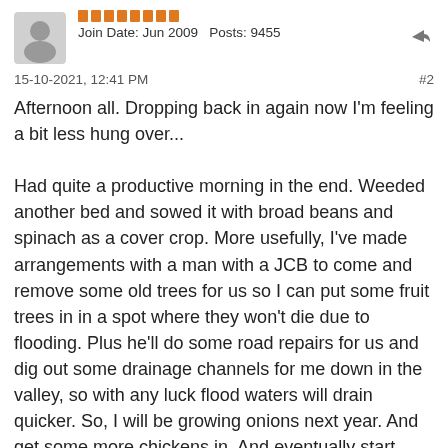Join Date: Jun 2009   Posts: 9455
15-10-2021, 12:41 PM
#2
Afternoon all. Dropping back in again now I'm feeling a bit less hung over...

Had quite a productive morning in the end. Weeded another bed and sowed it with broad beans and spinach as a cover crop. More usefully, I've made arrangements with a man with a JCB to come and remove some old trees for us so I can put some fruit trees in in a spot where they won't die due to flooding. Plus he'll do some road repairs for us and dig out some drainage channels for me down in the valley, so with any luck flood waters will drain quicker. So, I will be growing onions next year. And get some more chickens in. And eventually start picking home-grown fruit. I'll be dreaming of plums and greengages